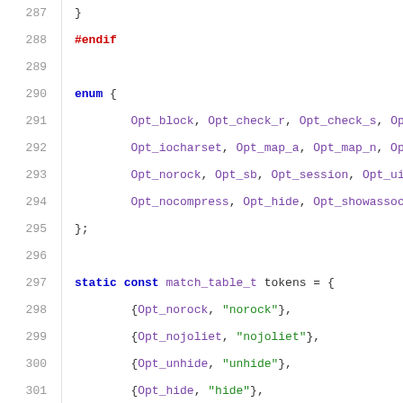287    }
288    #endif
289
290    enum {
291        Opt_block, Opt_check_r, Opt_check_s, Op
292        Opt_iocharset, Opt_map_a, Opt_map_n, Op
293        Opt_norock, Opt_sb, Opt_session, Opt_ui
294        Opt_nocompress, Opt_hide, Opt_showassoc
295    };
296
297    static const match_table_t tokens = {
298        {Opt_norock, "norock"},
299        {Opt_nojoliet, "nojoliet"},
300        {Opt_unhide, "unhide"},
301        {Opt_hide, "hide"},
302        {Opt_showassoc, "showassoc"},
303        {Opt_cruft, "cruft"},
304        {Opt_utf8, "utf8"},
305        {Opt_iocharset, "iocharset=%s"},
306        {Opt_map_a, "map=acorn"},
307        {Opt_map_a, "map=a"},